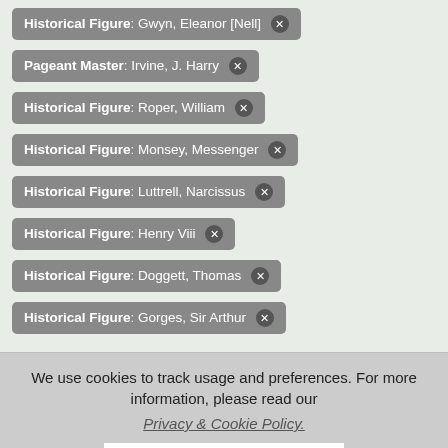Historical Figure: Gwyn, Eleanor [Nell] ✕
Pageant Master: Irvine, J. Harry ✕
Historical Figure: Roper, William ✕
Historical Figure: Monsey, Messenger ✕
Historical Figure: Luttrell, Narcissus ✕
Historical Figure: Henry Viii ✕
Historical Figure: Doggett, Thomas ✕
Historical Figure: Gorges, Sir Arthur ✕
Date(s)
We use cookies to track usage and preferences. For more information, please read our Privacy & Cookie Policy.
From
1908  1908
ACCEPT